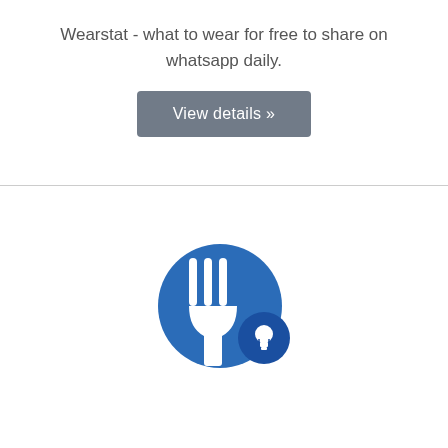Wearstat - what to wear for free to share on whatsapp daily.
[Figure (illustration): A button with grey background labeled 'View details »' in white text]
[Figure (logo): A circular blue icon with a white fork silhouette and a smaller blue circle with a white lightbulb icon in the bottom-right corner]